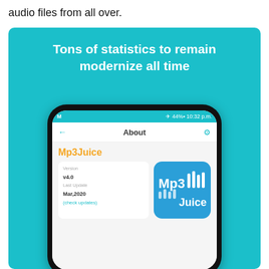audio files from all over.
[Figure (screenshot): Screenshot of Mp3Juice app 'About' screen on a smartphone, shown inside a teal/cyan promotional banner. The banner reads 'Tons of statistics to remain modernize all time'. The phone screen shows: status bar with 44% battery and 10:32 p.m., a back arrow, 'About' title, settings gear icon, 'Mp3Juice' in orange, a card with Version v4.0, Last Update Mar,2020, (check updates), and the Mp3Juice logo with sound bars.]